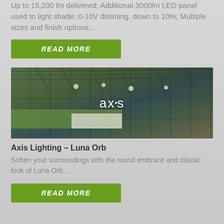Up to 15,200 lm delivered; Additional 3000lm LED panel used to light shade; 0-10V dimming, down to 10%; Multiple sizes and finish options...
READ MORE
[Figure (photo): Interior office space with axis lighting pendant fixtures visible on ceiling, green seating area, and 'axis' logo overlaid on the image]
Axis Lighting – Luna Orb
Soften your surroundings with the round embrace and classic look of Luna Orb....
READ MORE